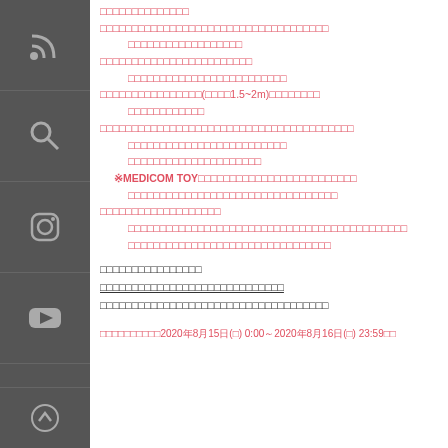□□□□□□□□□□□□□□
□□□□□□□□□□□□□□□□□□□□□□□□□□□□
□□□□□□□□□□□□□□□□□□ (indent)
□□□□□□□□□□□□□□□□□□□□□□□□
□□□□□□□□□□□□□□□□□□□□□□□□ (indent)
□□□□□□□□□□□□□□□□(□□□□1.5~2m)□□□□□□□□
□□□□□□□□□□□□ (indent)
□□□□□□□□□□□□□□□□□□□□□□□□□□□□□□□□□□□□
□□□□□□□□□□□□□□□□□□□□□□□□□ (indent)
□□□□□□□□□□□□□□□□□□□□□ (indent)
※MEDICOM TOY□□□□□□□□□□□□□□□□□□□□□□□□□
□□□□□□□□□□□□□□□□□□□□□□□□□□□□ (indent)
□□□□□□□□□□□□□□□□□□□
□□□□□□□□□□□□□□□□□□□□□□□□□□□□□□□□□□□□□□□□□□□□ (indent)
□□□□□□□□□□□□□□□□□□□□□□□□□□□□□ (indent)
□□□□□□□□□□□□□□□□
□□□□□□□□□□□□□□□□□□□□□□□□□□□□□
□□□□□□□□□□□□□□□□□□□□□□□□□□□□□□□□□□
□□□□□□□□□□2020年8月15日(□) 0:00～2020年8月16日(□) 23:59□□